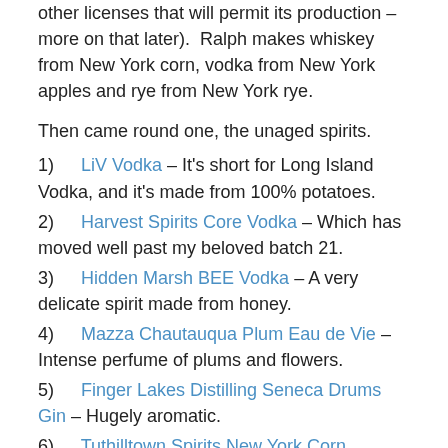other licenses that will permit its production – more on that later).  Ralph makes whiskey from New York corn, vodka from New York apples and rye from New York rye.
Then came round one, the unaged spirits.
1)    LiV Vodka – It's short for Long Island Vodka, and it's made from 100% potatoes.
2)    Harvest Spirits Core Vodka – Which has moved well past my beloved batch 21.
3)    Hidden Marsh BEE Vodka – A very delicate spirit made from honey.
4)    Mazza Chautauqua Plum Eau de Vie – Intense perfume of plums and flowers.
5)    Finger Lakes Distilling Seneca Drums Gin – Hugely aromatic.
6)    Tuthilltown Spirits New York Corn Whiskey – This isn't something you find everywhere.